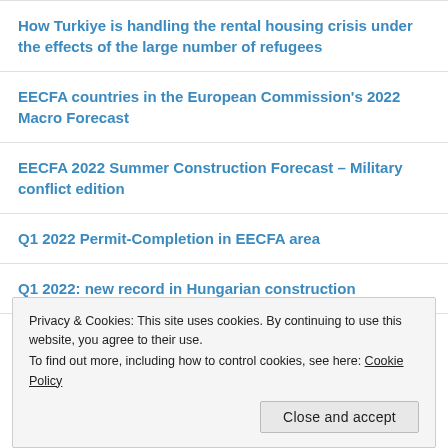How Turkiye is handling the rental housing crisis under the effects of the large number of refugees
EECFA countries in the European Commission's 2022 Macro Forecast
EECFA 2022 Summer Construction Forecast – Military conflict edition
Q1 2022 Permit-Completion in EECFA area
Q1 2022: new record in Hungarian construction
Potential impact of the war in Ukraine on the Bulgarian
Privacy & Cookies: This site uses cookies. By continuing to use this website, you agree to their use. To find out more, including how to control cookies, see here: Cookie Policy
Close and accept